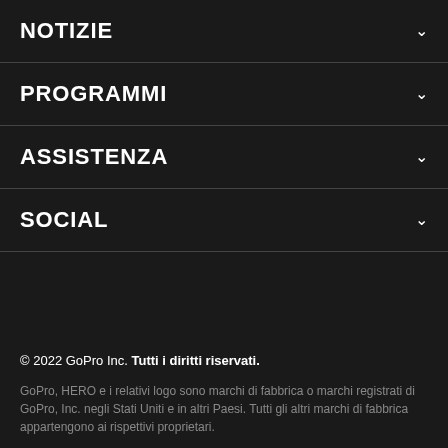NOTIZIE
PROGRAMMI
ASSISTENZA
SOCIAL
© 2022 GoPro Inc. Tutti i diritti riservati.
GoPro, HERO e i relativi logo sono marchi di fabbrica o marchi registrati di GoPro, Inc. negli Stati Uniti e in altri Paesi. Tutti gli altri marchi di fabbrica appartengono ai rispettivi proprietari.